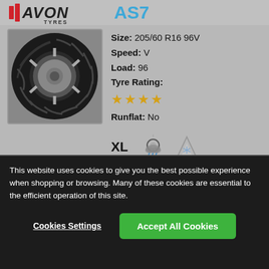[Figure (logo): Avon Tyres logo with red stripe and text]
AS7
Size: 205/60 R16 96V
Speed: V
Load: 96
Tyre Rating:
★★★★
Runflat: No
[Figure (photo): Avon AS7 tyre product image]
[Figure (infographic): XL load rating icon, all-season icon, winter icon]
Our MOST RATED tyre
TYRE LABEL
[Figure (infographic): Tyre label icons: fuel efficiency C, wet grip B, 70dB noise, ABC grade]
This website uses cookies to give you the best possible experience when shopping or browsing. Many of these cookies are essential to the efficient operation of this site.
Cookies Settings
Accept All Cookies